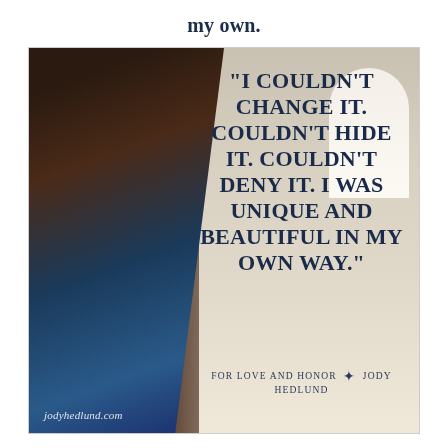my own.
[Figure (illustration): A woman in a blue medieval/renaissance gown standing in a stone hall with arched windows. Overlaid with a quote in large bold uppercase text: '"I COULDN'T CHANGE IT. COULDN'T HIDE IT. COULDN'T DENY IT. I WAS UNIQUE AND BEAUTIFUL IN MY OWN WAY."' Attribution: 'FOR LOVE AND HONOR ✤ JODY HEDLUND'. Website watermark: 'jodyhedlund.com']